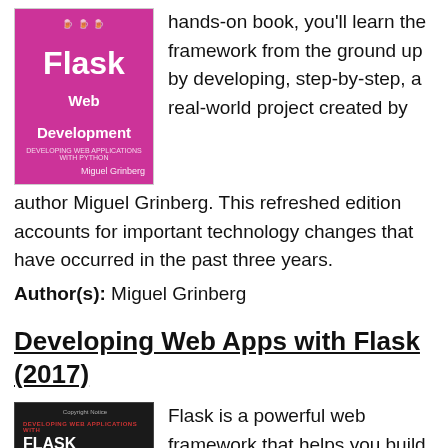[Figure (illustration): Flask Web Development book cover — pink/magenta background with white title text 'Flask Web Development' and author name 'Miguel Grinberg']
hands-on book, you'll learn the framework from the ground up by developing, step-by-step, a real-world project created by author Miguel Grinberg. This refreshed edition accounts for important technology changes that have occurred in the past three years.
Author(s): Miguel Grinberg
Developing Web Apps with Flask (2017)
[Figure (illustration): Developing Web Applications with Flask Framework book cover — dark/black background with red accent line, white title text 'FLASK FRAMEWORK']
Flask is a powerful web framework that helps you build great projects using your favorite tools. Flask takes the flexible